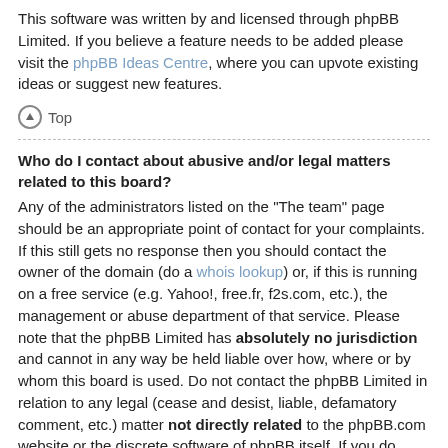This software was written by and licensed through phpBB Limited. If you believe a feature needs to be added please visit the phpBB Ideas Centre, where you can upvote existing ideas or suggest new features.
Top
Who do I contact about abusive and/or legal matters related to this board?
Any of the administrators listed on the "The team" page should be an appropriate point of contact for your complaints. If this still gets no response then you should contact the owner of the domain (do a whois lookup) or, if this is running on a free service (e.g. Yahoo!, free.fr, f2s.com, etc.), the management or abuse department of that service. Please note that the phpBB Limited has absolutely no jurisdiction and cannot in any way be held liable over how, where or by whom this board is used. Do not contact the phpBB Limited in relation to any legal (cease and desist, liable, defamatory comment, etc.) matter not directly related to the phpBB.com website or the discrete software of phpBB itself. If you do email phpBB Limited about any third party use of this software then you should expect a terse response or no response at all.